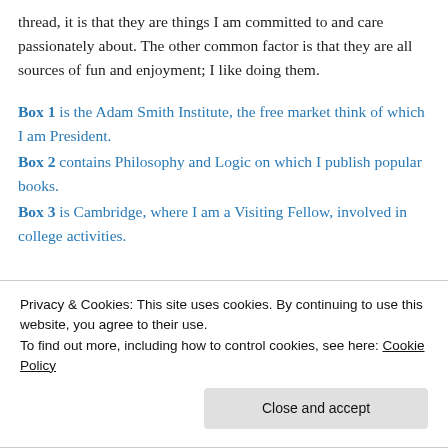thread, it is that they are things I am committed to and care passionately about. The other common factor is that they are all sources of fun and enjoyment; I like doing them.
Box 1 is the Adam Smith Institute, the free market think of which I am President.
Box 2 contains Philosophy and Logic on which I publish popular books.
Box 3 is Cambridge, where I am a Visiting Fellow, involved in college activities.
Privacy & Cookies: This site uses cookies. By continuing to use this website, you agree to their use. To find out more, including how to control cookies, see here: Cookie Policy
Box 6 sees me involved in Economics, with articles, books